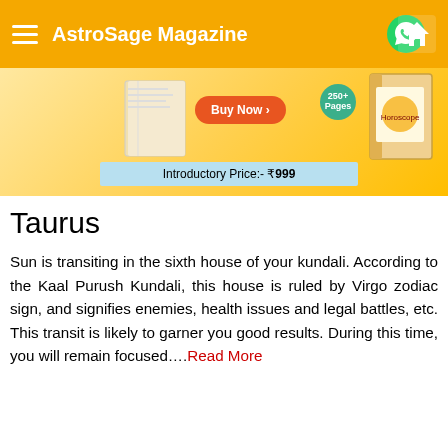AstroSage Magazine
[Figure (infographic): Advertisement banner for a horoscope book with 'Buy Now' button, '250+ Pages' badge, and 'Introductory Price:- ₹999' label on light blue bar.]
Taurus
Sun is transiting in the sixth house of your kundali. According to the Kaal Purush Kundali, this house is ruled by Virgo zodiac sign, and signifies enemies, health issues and legal battles, etc. This transit is likely to garner you good results. During this time, you will remain focused….Read More